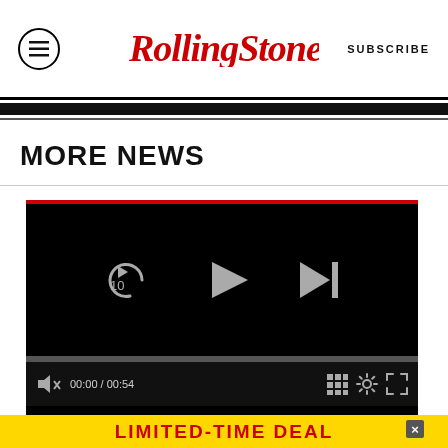RollingStone | SUBSCRIBE
MORE NEWS
[Figure (screenshot): Video player with black screen, replay 10 seconds button, play button, skip next button, progress bar, time display 00:00 / 00:54, grid/chapters button, settings button, fullscreen button]
[Figure (infographic): Yellow advertisement bar with red text reading LIMITED-TIME DEAL]